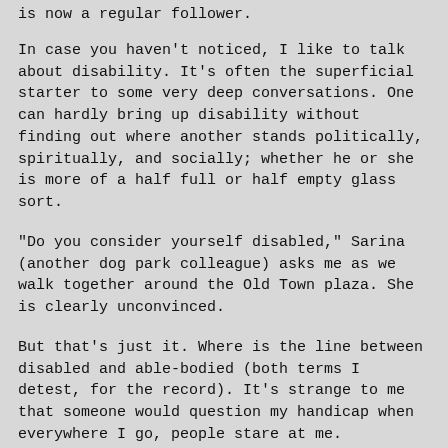is now a regular follower.
In case you haven't noticed, I like to talk about disability. It's often the superficial starter to some very deep conversations. One can hardly bring up disability without finding out where another stands politically, spiritually, and socially; whether he or she is more of a half full or half empty glass sort.
"Do you consider yourself disabled," Sarina (another dog park colleague) asks me as we walk together around the Old Town plaza. She is clearly unconvinced.
But that's just it. Where is the line between disabled and able-bodied (both terms I detest, for the record). It's strange to me that someone would question my handicap when everywhere I go, people stare at me.